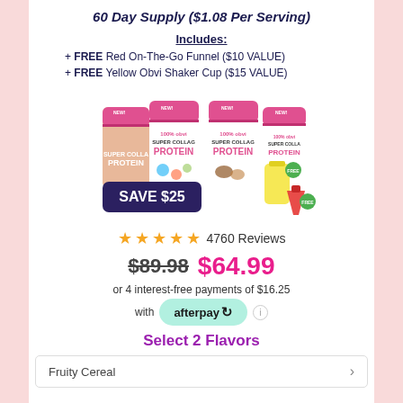60 Day Supply ($1.08 Per Serving)
Includes:
+ FREE Red On-The-Go Funnel ($10 VALUE)
+ FREE Yellow Obvi Shaker Cup ($15 VALUE)
[Figure (photo): Four Obvi Super Collagen Protein powder containers in pink and white with a 'SAVE $25' badge overlay, free funnel and shaker cup accessories shown]
★★★★★ 4760 Reviews
$89.98  $64.99
or 4 interest-free payments of $16.25
with afterpay
Select 2 Flavors
Fruity Cereal